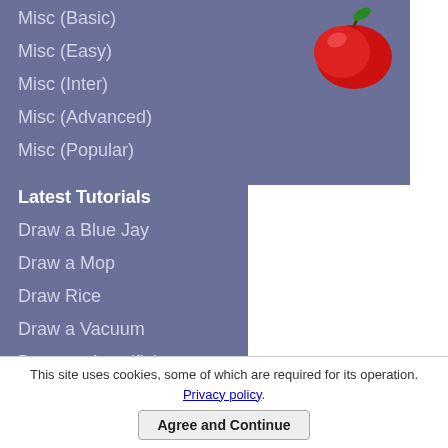Misc (Basic)
Misc (Easy)
Misc (Inter)
Misc (Advanced)
Misc (Popular)
Latest Tutorials
Draw a Blue Jay
Draw a Mop
Draw Rice
Draw a Vacuum
Draw an Angelfish
Draw a Barracuda
Draw a Beagle
[Figure (illustration): Red apple cartoon illustration in top right sidebar area]
[Figure (illustration): Yellow smiling star cartoon illustration in right sidebar area]
This site uses cookies, some of which are required for its operation. Privacy policy.
Agree and Continue